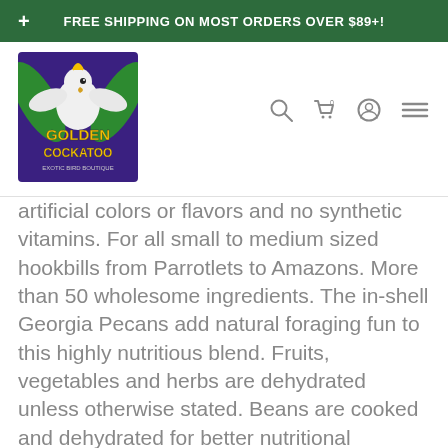FREE SHIPPING ON MOST ORDERS OVER $89+!
[Figure (logo): Golden Cockatoo Exotic Bird Boutique logo - colorful parrot illustration with yellow text on purple/green background]
artificial colors or flavors and no synthetic vitamins. For all small to medium sized hookbills from Parrotlets to Amazons. More than 50 wholesome ingredients. The in-shell Georgia Pecans add natural foraging fun to this highly nutritious blend. Fruits, vegetables and herbs are dehydrated unless otherwise stated. Beans are cooked and dehydrated for better nutritional absorption. Variety is essential to your avian pet's